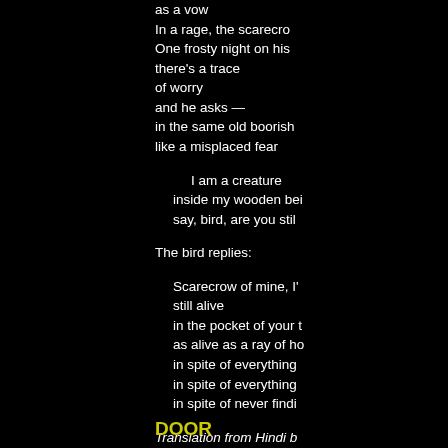as a vow
In a rage,  the scarecro
One frosty night on his
there's a trace
of worry
and he asks —
in the same old boorish
like a misplaced fear

            I am a creature
  inside my wooden bei
  say,   bird, are you stil

The bird replies:

    Scarecrow of mine, I'
    still alive
    in the pocket of your t
    as alive as a ray of ho
    in spite of  everything
    in spite of  everything
    in spite  of never findi

Translation from Hindi b
DOOR